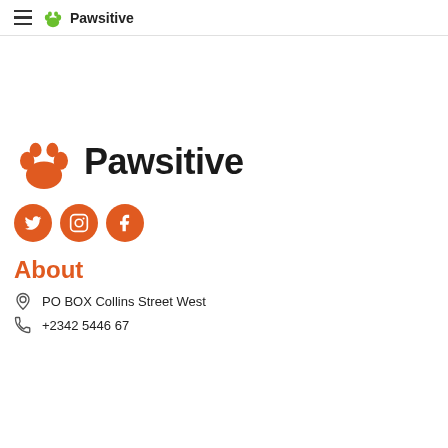Pawsitive
[Figure (logo): Pawsitive brand logo with orange paw print icon and bold text 'Pawsitive']
[Figure (infographic): Three orange circular social media icon buttons: Twitter, Instagram, Facebook]
About
PO BOX Collins Street West
+2342 5446 67